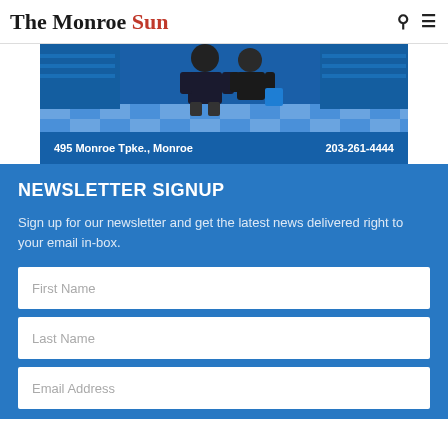The Monroe Sun
[Figure (photo): Advertisement photo showing a person in a store with blue and white checkered floor. Bottom bar reads: 495 Monroe Tpke., Monroe   203-261-4444]
NEWSLETTER SIGNUP
Sign up for our newsletter and get the latest news delivered right to your email in-box.
First Name
Last Name
Email Address